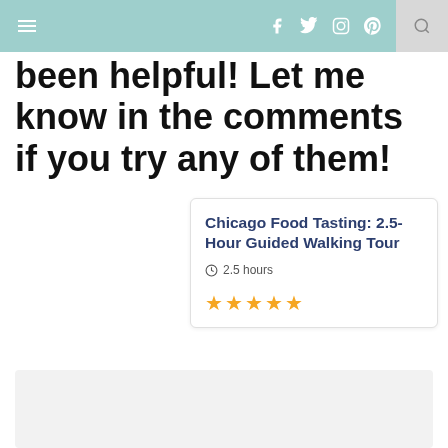Navigation header with menu, social icons (facebook, twitter, instagram, pinterest), and search
been helpful! Let me know in the comments if you try any of them!
Chicago Food Tasting: 2.5-Hour Guided Walking Tour
2.5 hours
★★★★★